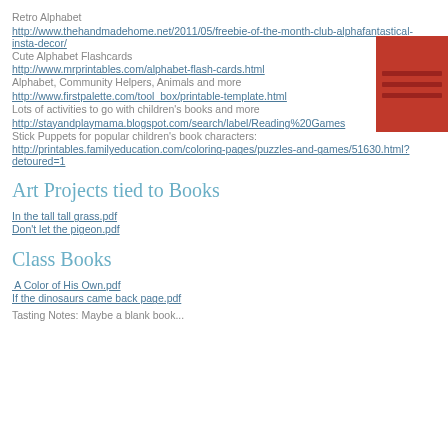Retro Alphabet
http://www.thehandmadehome.net/2011/05/freebie-of-the-month-club-alphafantastical-insta-decor/
Cute Alphabet Flashcards
http://www.mrprintables.com/alphabet-flash-cards.html
Alphabet, Community Helpers, Animals and more
http://www.firstpalette.com/tool_box/printable-template.html
Lots of activities to go with children's books and more
http://stayandplaymama.blogspot.com/search/label/Reading%20Games
Stick Puppets for popular children's book characters:
http://printables.familyeducation.com/coloring-pages/puzzles-and-games/51630.html?detoured=1
Art Projects tied to Books
In the tall tall grass.pdf
Don't let the pigeon.pdf
Class Books
A Color of His Own.pdf
If the dinosaurs came back page.pdf
Tasting Notes: Maybe a blank book...